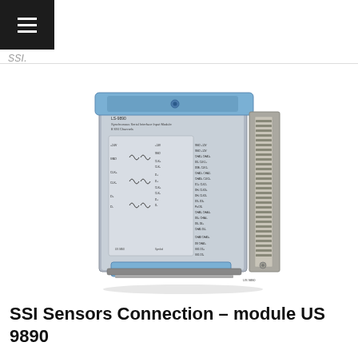SSI.
[Figure (photo): Product photo of the US 9890 SSI Sensors Connection module — a compact industrial DIN-rail mounted data acquisition module with a gray metal enclosure, blue accent brackets at the top, a wiring diagram printed on the front face showing three channels with sinusoidal signal symbols, and a multi-pin connector on the right side.]
SSI Sensors Connection – module US 9890